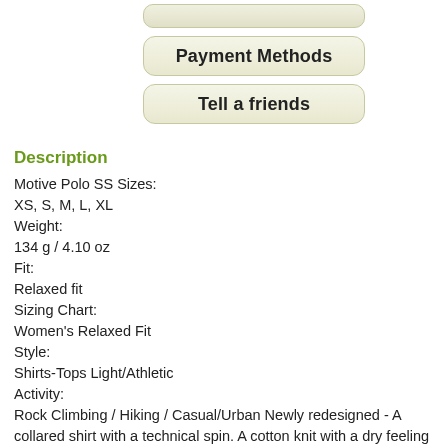[Figure (screenshot): Partial button stub at top of page (rounded rectangle button, cropped)]
[Figure (screenshot): Button labeled 'Payment Methods' with rounded rectangle style]
[Figure (screenshot): Button labeled 'Tell a friends' with rounded rectangle style]
Description
Motive Polo SS Sizes:
XS, S, M, L, XL
Weight:
134 g / 4.10 oz
Fit:
Relaxed fit
Sizing Chart:
Women's Relaxed Fit
Style:
Shirts-Tops Light/Athletic
Activity:
Rock Climbing / Hiking / Casual/Urban Newly redesigned - A collared shirt with a technical spin. A cotton knit with a dry feeling polyester inner surface, wicks well both in the office and the mountains. This women's shirt has a soft knit collar with flattering V-neck, capped